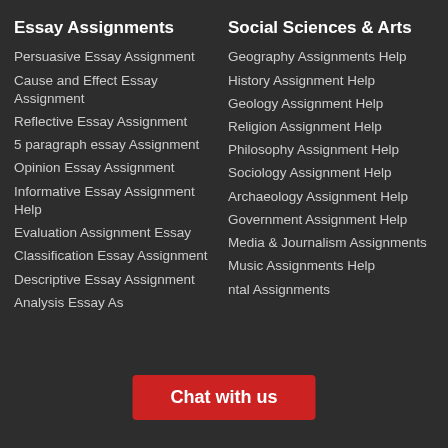Essay Assignments
Persuasive Essay Assignment
Cause and Effect Essay Assignment
Reflective Essay Assignment
5 paragraph essay Assignment
Opinion Essay Assignment
Informative Essay Assignment Help
Evaluation Assignment Essay
Classification Essay Assignment
Descriptive Essay Assignment
Analysis Essay As...
Social Sciences & Arts
Geography Assignments Help
History Assignment Help
Geology Assignment Help
Religion Assignment Help
Philosophy Assignment Help
Sociology Assignment Help
Archaeology Assignment Help
Government Assignment Help
Media & Journalism Assignments
Music Assignments Help
...ntal Assignments